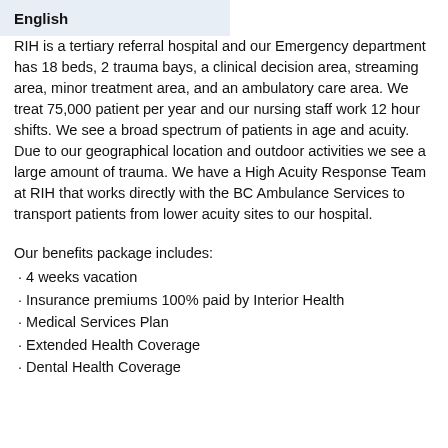English
RIH is a tertiary referral hospital and our Emergency department has 18 beds, 2 trauma bays, a clinical decision area, streaming area, minor treatment area, and an ambulatory care area. We treat 75,000 patient per year and our nursing staff work 12 hour shifts. We see a broad spectrum of patients in age and acuity. Due to our geographical location and outdoor activities we see a large amount of trauma. We have a High Acuity Response Team at RIH that works directly with the BC Ambulance Services to transport patients from lower acuity sites to our hospital.
Our benefits package includes:
· 4 weeks vacation
· Insurance premiums 100% paid by Interior Health
· Medical Services Plan
· Extended Health Coverage
· Dental Health Coverage